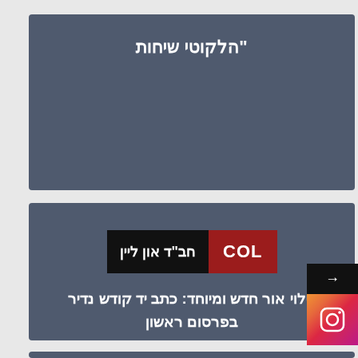"הלקוטי שיחות
[Figure (logo): COL - חב"ד און ליין logo with black left section containing Hebrew text and red right section with COL text]
גילוי אור חדש ומיוחד: כתב יד קודש נדיר בפרסום ראשון